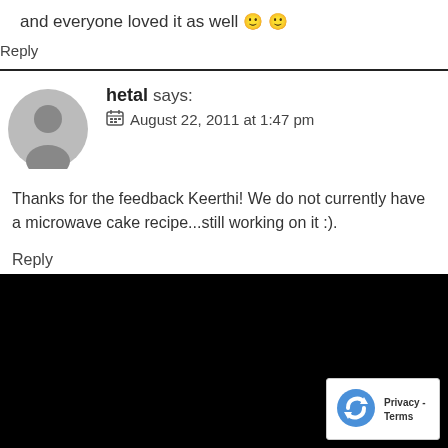and everyone loved it as well 🙂 🙂
Reply
hetal says: August 22, 2011 at 1:47 pm
Thanks for the feedback Keerthi! We do not currently have a microwave cake recipe...still working on it :).
Reply
[Figure (logo): reCAPTCHA badge with Privacy and Terms links]